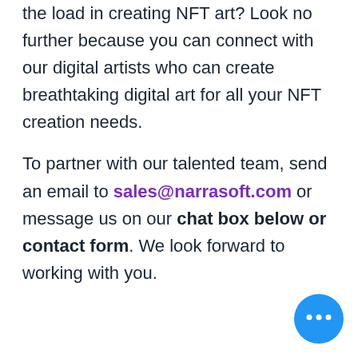the load in creating NFT art? Look no further because you can connect with our digital artists who can create breathtaking digital art for all your NFT creation needs.
To partner with our talented team, send an email to sales@narrasoft.com or message us on our chat box below or contact form. We look forward to working with you.
[Figure (other): Blue circular chat button with three dots in the bottom-right corner]